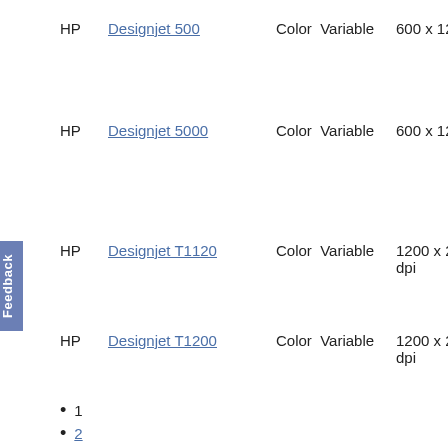HP  Designjet 500  Color  Variable  600 x 1200
HP  Designjet 5000  Color  Variable  600 x 1200
HP  Designjet T1120  Color  Variable  1200 x 2400 dpi
HP  Designjet T1200  Color  Variable  1200 x 2400 dpi
1
2